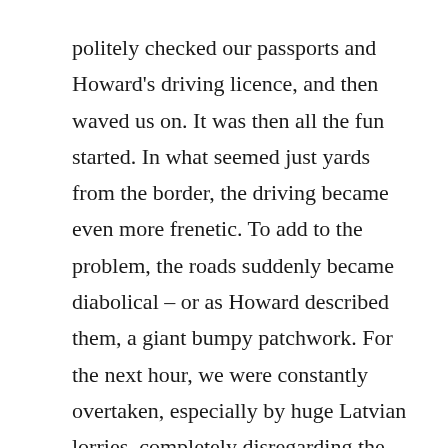politely checked our passports and Howard's driving licence, and then waved us on. It was then all the fun started. In what seemed just yards from the border, the driving became even more frenetic. To add to the problem, the roads suddenly became diabolical – or as Howard described them, a giant bumpy patchwork. For the next hour, we were constantly overtaken, especially by huge Latvian lorries, completely disregarding the speed limit, until they spotted a speed camera, when they rapidly applied the brakes.
The countryside, as yesterday, was incredibly flat and featureless. Most of the land is set aside for arable farming such as wheat, but further on, we saw fields planted with potatoes, and a smattering of apple orchards. In one field alone, we counted forty storks.